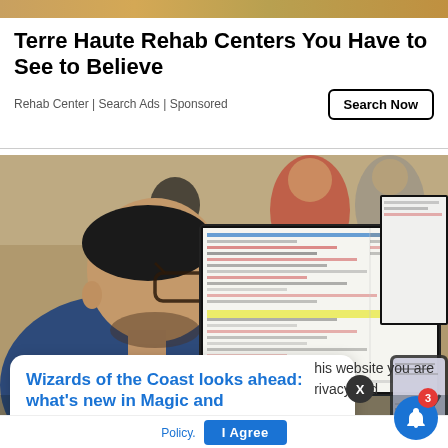[Figure (photo): Top decorative banner with golden/amber gradient tones]
Terre Haute Rehab Centers You Have to See to Believe
Rehab Center | Search Ads | Sponsored
[Figure (photo): Person with glasses viewed from behind, looking at multiple computer monitors showing code/IDE. Other people visible in background.]
[Figure (screenshot): Popup card overlay: 'Wizards of the Coast looks ahead: what's new in Magic and' with timestamp '3 hours ago']
his website you are
rivacy and
Policy.
I Agree